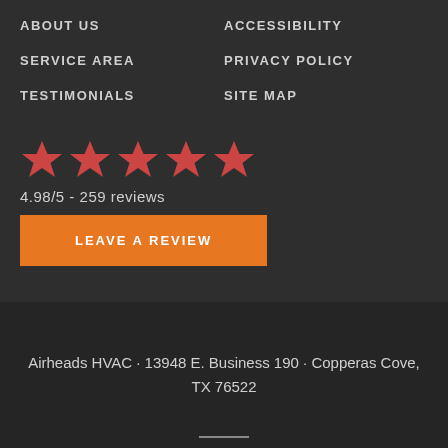ABOUT US
ACCESSIBILITY
SERVICE AREA
PRIVACY POLICY
TESTIMONIALS
SITE MAP
[Figure (infographic): Five red/pink stars rating display]
4.98/5 - 259 reviews
LEAVE A REVIEW
Airheads HVAC · 13948 E. Business 190 · Copperas Cove, TX 76522